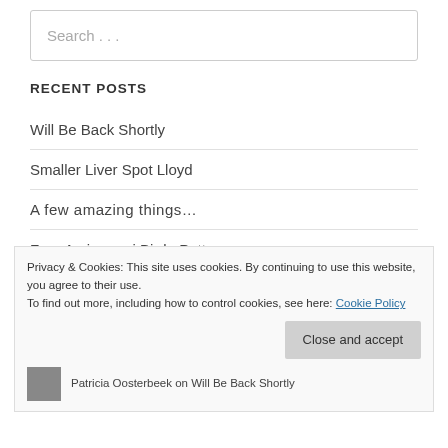Search . . .
RECENT POSTS
Will Be Back Shortly
Smaller Liver Spot Lloyd
A few amazing things…
Free Amigurumi Birdo Pattern
Privacy & Cookies: This site uses cookies. By continuing to use this website, you agree to their use.
To find out more, including how to control cookies, see here: Cookie Policy
Close and accept
Patricia Oosterbeek on Will Be Back Shortly